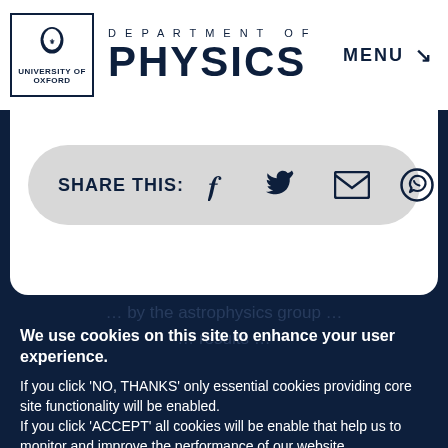DEPARTMENT OF PHYSICS  MENU
[Figure (screenshot): Share this bar with social media icons: Facebook, Twitter, Email, WhatsApp]
We use cookies on this site to enhance your user experience. If you click 'NO, THANKS' only essential cookies providing core site functionality will be enabled. If you click 'ACCEPT' all cookies will be enable that help us to monitor and improve the performance of our website.
View privacy policy
ACCEPT  NO, THANKS